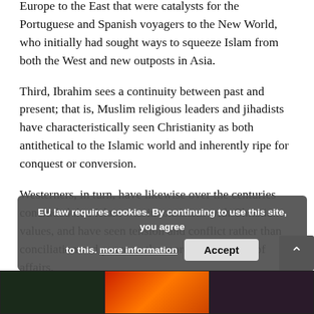Europe to the East that were catalysts for the Portuguese and Spanish voyagers to the New World, who initially had sought ways to squeeze Islam from both the West and new outposts in Asia.
Third, Ibrahim sees a continuity between past and present; that is, Muslim religious leaders and jihadists have characteristically seen Christianity as both antithetical to the Islamic world and inherently ripe for conquest or conversion.
Westerners, in turn, have likewise over the centuries concluded that Islam was inconsistent with Christian values, and have seen tension and conflict rather than conciliation and peace as the more normal state of affairs.
EU law requires cookies. By continuing to use this site, you agree to this. more information
[Figure (screenshot): Three thumbnail images at the bottom of the page, partially visible, showing a dark image, a fiery/orange image, and a dark portrait image.]